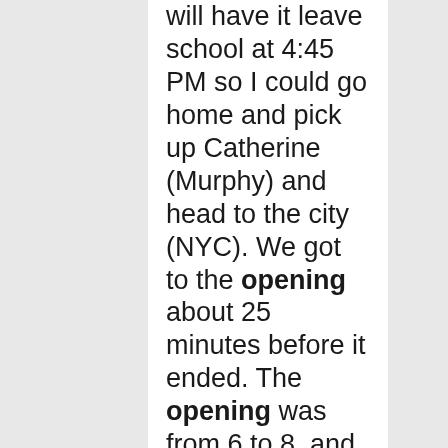will have it leave school at 4:45 PM so I could go home and pick up Catherine (Murphy) and head to the city (NYC). We got to the opening about 25 minutes before it ended. The opening was from 6 to 8, and dinner started at 8:00 PM. Both Arlene Schechet and Merlin James had openings that night at